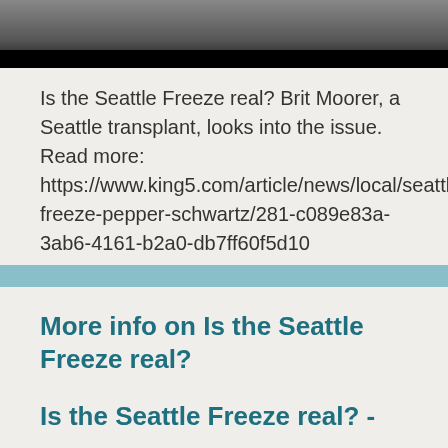[Figure (photo): Partial photo with dark band at bottom, content cropped at top of page]
Is the Seattle Freeze real? Brit Moorer, a Seattle transplant, looks into the issue. Read more: https://www.king5.com/article/news/local/seattle-freeze-pepper-schwartz/281-c089e83a-3ab6-4161-b2a0-db7ff60f5d10
More info on Is the Seattle Freeze real?
Is the Seattle Freeze real? -